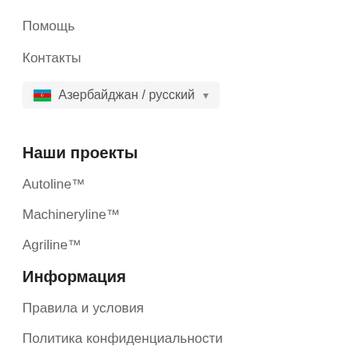Помощь
Контакты
Азербайджан / русский
Наши проекты
Autoline™
Machineryline™
Agriline™
Информация
Правила и условия
Политика конфиденциальности
Советы по безопасности